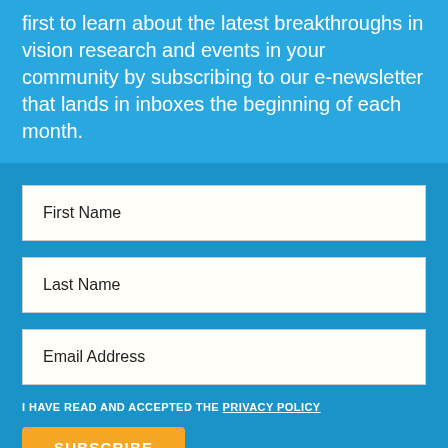first to learn about the latest breakthroughs in vision research and events in your community by subscribing to our e-newsletter that lands in inboxes the beginning of each month.
First Name
Last Name
Email Address
I HAVE READ AND ACCEPTED THE PRIVACY POLICY
SUBSCRIBE